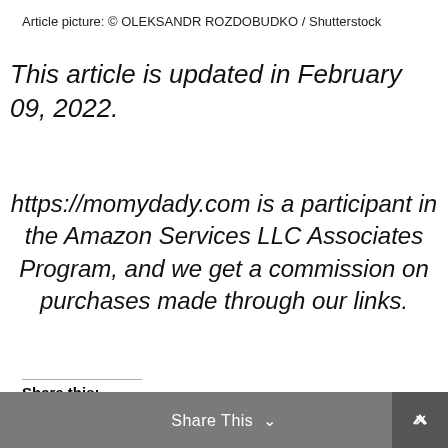Article picture: © OLEKSANDR ROZDOBUDKO / Shutterstock
This article is updated in February 09, 2022.
https://momydady.com is a participant in the Amazon Services LLC Associates Program, and we get a commission on purchases made through our links.
Share this:
Tweet  Save  WhatsApp
Like this:
Share This